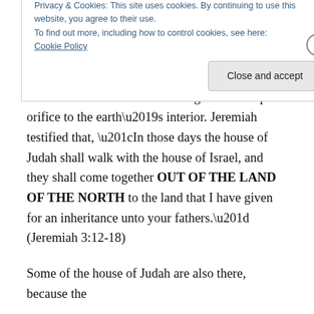The earth's “womb” and “the outmost parts of Heaven” to where the Lord took the Lost Tribes in scripture is also called the “North Countries” because it can be accessed through the north polar orifice to the earth’s interior. Jeremiah testified that, “In those days the house of Judah shall walk with the house of Israel, and they shall come together OUT OF THE LAND OF THE NORTH to the land that I have given for an inheritance unto your fathers.” (Jeremiah 3:12-18)
Some of the house of Judah are also there, because the
Privacy & Cookies: This site uses cookies. By continuing to use this website, you agree to their use.
To find out more, including how to control cookies, see here: Cookie Policy